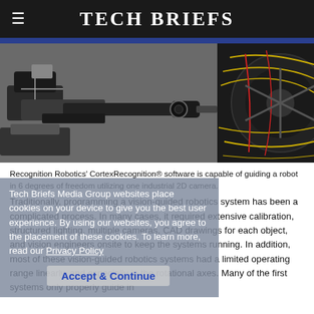Tech Briefs
[Figure (photo): Industrial robotic arm with camera/sensor attachment on the left side (black and white), positioned next to a colorful CAD overlay image of a car wheel on the right, with red and yellow contour lines.]
Recognition Robotics' CortexRecognition® software is capable of guiding a robot in 6 degrees of freedom utilizing one industrial 2D camera.
Traditionally, programming a vision-guided robotics system has been a complicated process. In many cases, it required extensive calibration, structured lighting, multiple cameras, CAD drawings for each object, and vision engineers onsite to keep the systems running. In addition, most of these vision-guided robotics systems had a limited operating range linearly, and especially in the rotational axes. Many of the first systems only properly guide in X, Y, and R only.
Tech Briefs Media Group websites place cookies on your device to give you the best user experience. By using our websites, you agree to the placement of these cookies. To learn more, read our Privacy Policy